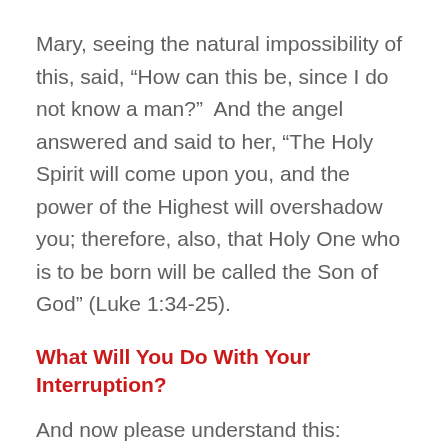Mary, seeing the natural impossibility of this, said, “How can this be, since I do not know a man?”  And the angel answered and said to her, “The Holy Spirit will come upon you, and the power of the Highest will overshadow you; therefore, also, that Holy One who is to be born will be called the Son of God” (Luke 1:34-25).
What Will You Do With Your Interruption?
And now please understand this: